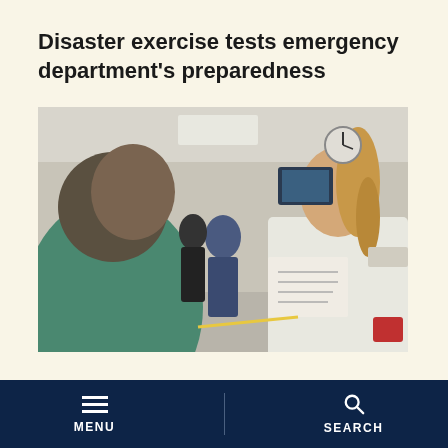Disaster exercise tests emergency department's preparedness
[Figure (photo): A woman in a white lab coat holding a document speaks with a man in teal/green medical scrubs inside a busy hospital emergency department. Multiple medical staff are visible in the background.]
UC Davis Medical Center re-verified as level I trauma center by American
MENU | SEARCH